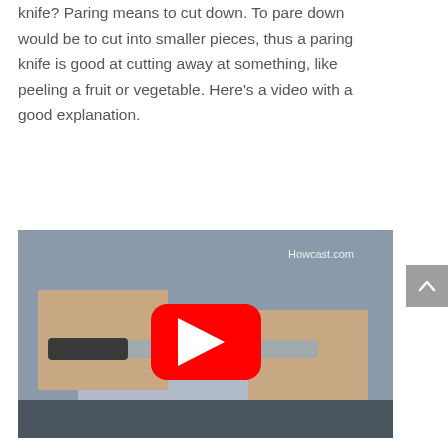knife? Paring means to cut down. To pare down would be to cut into smaller pieces, thus a paring knife is good at cutting away at something, like peeling a fruit or vegetable. Here's a video with a good explanation.
[Figure (screenshot): YouTube video thumbnail showing a person holding a paring knife with both hands. A red YouTube play button is overlaid in the center. The Howcast.com watermark is visible in the upper right corner.]